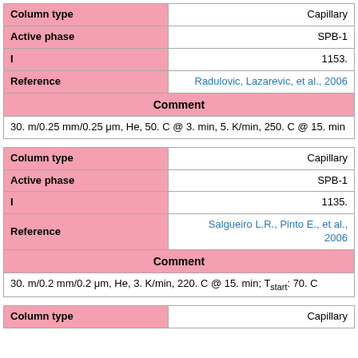| Column type | Capillary |
| --- | --- |
| Active phase | SPB-1 |
| I | 1153. |
| Reference | Radulovic, Lazarevic, et al., 2006 |
| Comment |  |
| 30. m/0.25 mm/0.25 μm, He, 50. C @ 3. min, 5. K/min, 250. C @ 15. min |  |
| Column type | Capillary |
| --- | --- |
| Active phase | SPB-1 |
| I | 1135. |
| Reference | Salgueiro L.R., Pinto E., et al., 2006 |
| Comment |  |
| 30. m/0.2 mm/0.2 μm, He, 3. K/min, 220. C @ 15. min; Tstart: 70. C |  |
| Column type | Capillary |
| --- | --- |